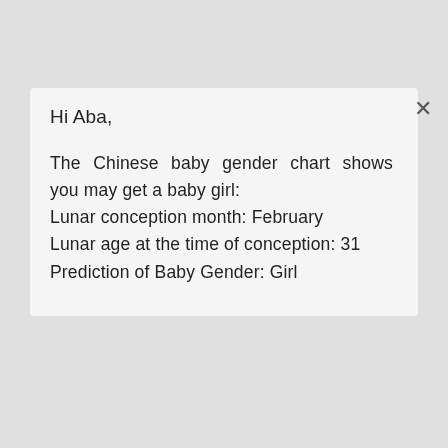Hi Aba,
The Chinese baby gender chart shows you may get a baby girl:
Lunar conception month: February
Lunar age at the time of conception: 31
Prediction of Baby Gender: Girl